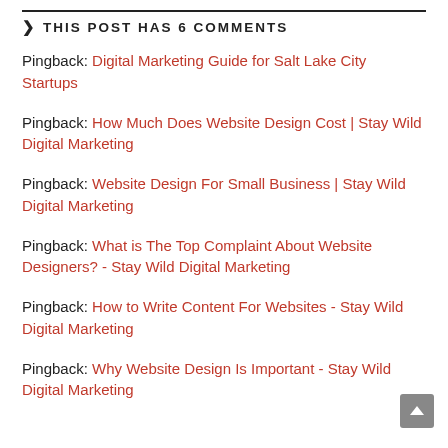THIS POST HAS 6 COMMENTS
Pingback: Digital Marketing Guide for Salt Lake City Startups
Pingback: How Much Does Website Design Cost | Stay Wild Digital Marketing
Pingback: Website Design For Small Business | Stay Wild Digital Marketing
Pingback: What is The Top Complaint About Website Designers? - Stay Wild Digital Marketing
Pingback: How to Write Content For Websites - Stay Wild Digital Marketing
Pingback: Why Website Design Is Important - Stay Wild Digital Marketing